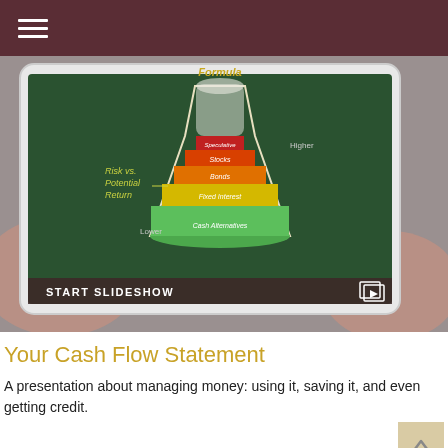[Figure (photo): Person holding a tablet displaying a financial infographic titled 'Financial Formula' showing a flask/beaker diagram with 'Risk vs. Potential Return' levels from Low to Higher, with layers labeled Cash Alternatives, Fixed Interest, Bonds, Stocks, and Speculative. A 'START SLIDESHOW' bar appears at the bottom with a video/slideshow icon.]
Your Cash Flow Statement
A presentation about managing money: using it, saving it, and even getting credit.